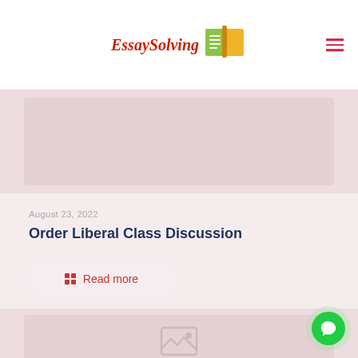EssaySolving
[Figure (photo): Placeholder image area at top of article listing]
August 23, 2022
Order Liberal Class Discussion
Read more
[Figure (photo): Placeholder image area for second article listing with broken image icon]